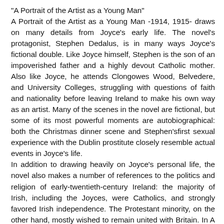"A Portrait of the Artist as a Young Man"
A Portrait of the Artist as a Young Man -1914, 1915- draws on many details from Joyce's early life. The novel's protagonist, Stephen Dedalus, is in many ways Joyce's fictional double. Like Joyce himself, Stephen is the son of an impoverished father and a highly devout Catholic mother. Also like Joyce, he attends Clongowes Wood, Belvedere, and University Colleges, struggling with questions of faith and nationality before leaving Ireland to make his own way as an artist. Many of the scenes in the novel are fictional, but some of its most powerful moments are autobiographical: both the Christmas dinner scene and Stephen'sfirst sexual experience with the Dublin prostitute closely resemble actual events in Joyce's life.
In addition to drawing heavily on Joyce's personal life, the novel also makes a number of references to the politics and religion of early-twentieth-century Ireland: the majority of Irish, including the Joyces, were Catholics, and strongly favored Irish independence. The Protestant minority, on the other hand, mostly wished to remain united with Britain. In A Portrait of the Artist as a